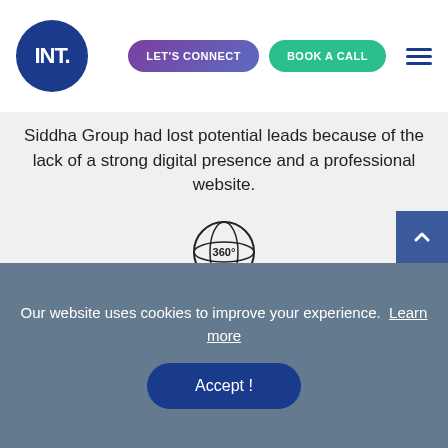INT. | LET'S CONNECT | BOOK A CALL
Siddha Group had lost potential leads because of the lack of a strong digital presence and a professional website.
[Figure (illustration): 360-degree icon: globe outline with '360°' text in the center]
360-Degree Digital Plan
In spite of being a leading real estate company, Siddha did not have a strong digital plan. As a result of which they were unable to generate inbound leads.
Our website uses cookies to improve your experience. Learn more
Accept !